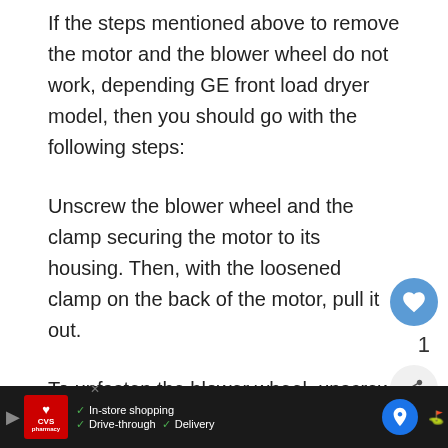If the steps mentioned above to remove the motor and the blower wheel do not work, depending GE front load dryer model, then you should go with the following steps:
Unscrew the blower wheel and the clamp securing the motor to its housing. Then, with the loosened clamp on the back of the motor, pull it out.
To unfasten the blower wheel, unscrew the blower wheel housing from the back.
With this guide, now you can safely disassemble your GE...